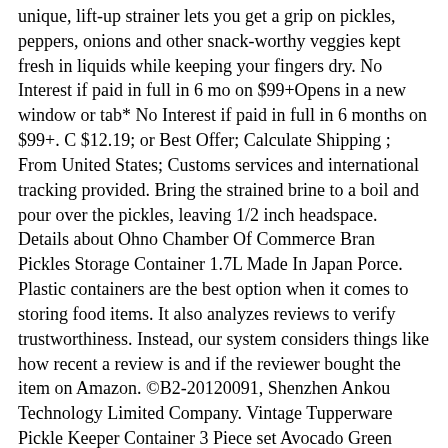unique, lift-up strainer lets you get a grip on pickles, peppers, onions and other snack-worthy veggies kept fresh in liquids while keeping your fingers dry. No Interest if paid in full in 6 mo on $99+Opens in a new window or tab* No Interest if paid in full in 6 months on $99+. C $12.19; or Best Offer; Calculate Shipping ; From United States; Customs services and international tracking provided. Bring the strained brine to a boil and pour over the pickles, leaving 1/2 inch headspace. Details about Ohno Chamber Of Commerce Bran Pickles Storage Container 1.7L Made In Japan Porce. Plastic containers are the best option when it comes to storing food items. It also analyzes reviews to verify trustworthiness. Instead, our system considers things like how recent a review is and if the reviewer bought the item on Amazon. ©B2-20120091, Shenzhen Ankou Technology Limited Company. Vintage Tupperware Pickle Keeper Container 3 Piece set Avocado Green #1330-3. 0 bids. + CDN$ 5.51 Shipping. Home-X - Pickle Storage Container with Strainer Insert, The Ultimate Kitchenware Food Saver for Preserving and Keeping Edibles Fresh, White. Prime members enjoy Free Two-Day Shipping, Free Same-Day or One-Day Delivery to select areas, Prime Video, Prime Music, Prime Reading, and more. MESS-FREE STORE & STRAIN - Innovative mess-free food storage container with handy lift-up strainer lets you remove pickles, olives, and other foods stored in liquids while keeping your fingers dry. Sold by ELEGOO and ships from Amazon Fulfillment. 5.What format of the file do you need if I want to convert it? We have a comprehensive, in-depth